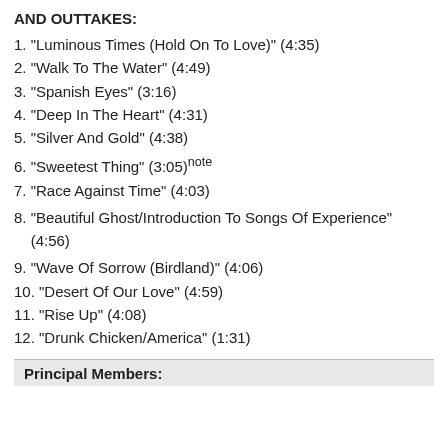AND OUTTAKES:
1. "Luminous Times (Hold On To Love)" (4:35)
2. "Walk To The Water" (4:49)
3. "Spanish Eyes" (3:16)
4. "Deep In The Heart" (4:31)
5. "Silver And Gold" (4:38)
6. "Sweetest Thing" (3:05)note
7. "Race Against Time" (4:03)
8. "Beautiful Ghost/Introduction To Songs Of Experience" (4:56)
9. "Wave Of Sorrow (Birdland)" (4:06)
10. "Desert Of Our Love" (4:59)
11. "Rise Up" (4:08)
12. "Drunk Chicken/America" (1:31)
Principal Members: